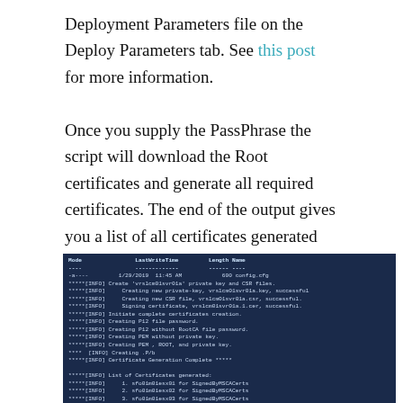Deployment Parameters file on the Deploy Parameters tab. See this post for more information.
Once you supply the PassPhrase the script will download the Root certificates and generate all required certificates. The end of the output gives you a list of all certificates generated
[Figure (screenshot): Terminal/PowerShell output showing certificate generation process. Displays Mode, LastWriteTime, Length, Name columns, then INFO log lines for creating private key, CSR files, PEM files, P12 files, and a list of 17 certificates generated for SignedByMSCACerts.]